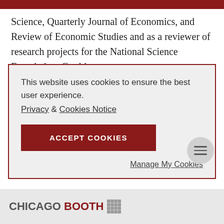Science, Quarterly Journal of Economics, and Review of Economic Studies and as a reviewer of research projects for the National Science Foundation. Gould
This website uses cookies to ensure the best user experience.
Privacy & Cookies Notice
ACCEPT COOKIES
Manage My Cookies
[Figure (logo): Chicago Booth logo with text CHICAGO in gray and BOOTH in dark red, followed by a small grid/seal icon]
CHICAGO BOOTH